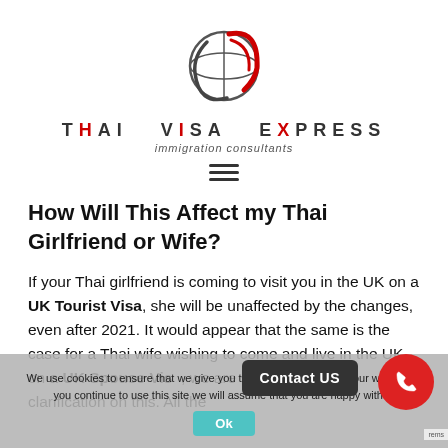[Figure (logo): Thai Visa Express logo — globe with red swoosh, brand name in spaced caps, tagline 'immigration consultants']
How Will This Affect my Thai Girlfriend or Wife?
If your Thai girlfriend is coming to visit you in the UK on a UK Tourist Visa, she will be unaffected by the changes, even after 2021. It would appear that the same is the case for a Thai wife wishing to come and live in the UK on a UK Spouse Visa, we are still awaiting final clarification on this. All the
We use cookies to ensure that we give you the best experience on our website. If you continue to use this site we will assume that you are happy with it.
Ok
Contact US